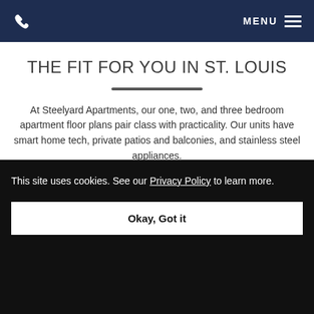MENU
THE FIT FOR YOU IN ST. LOUIS
At Steelyard Apartments, our one, two, and three bedroom apartment floor plans pair class with practicality. Our units have smart home tech, private patios and balconies, and stainless steel appliances. The neighborhood offers a connected hood-friendly home. walk-in
This site uses cookies. See our Privacy Policy to learn more.
Okay, Got it
intense workout while you wait for your clothes to dry.